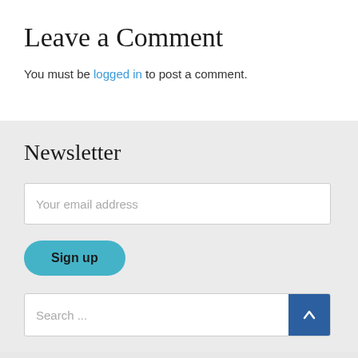Leave a Comment
You must be logged in to post a comment.
Newsletter
Your email address
Sign up
Search ...